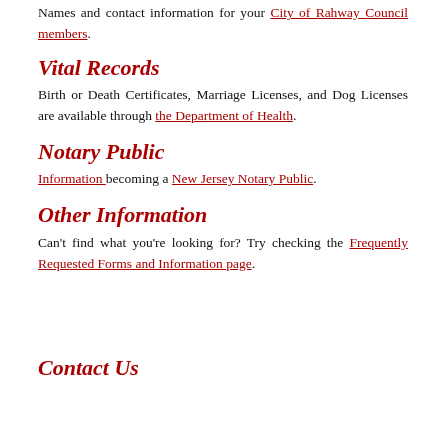Names and contact information for your City of Rahway Council members.
Vital Records
Birth or Death Certificates, Marriage Licenses, and Dog Licenses are available through the Department of Health.
Notary Public
Information becoming a New Jersey Notary Public.
Other Information
Can't find what you're looking for? Try checking the Frequently Requested Forms and Information page.
Contact Us